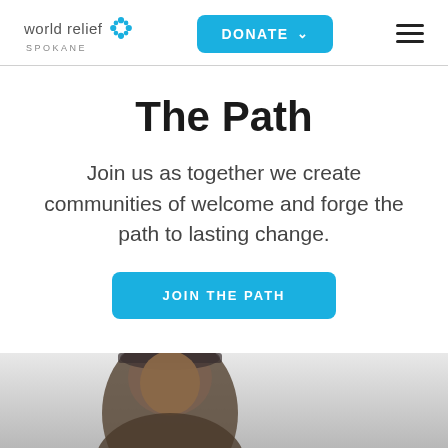world relief SPOKANE | DONATE | menu
The Path
Join us as together we create communities of welcome and forge the path to lasting change.
JOIN THE PATH
[Figure (photo): Partial view of a person's head at the bottom of the page, cropped.]